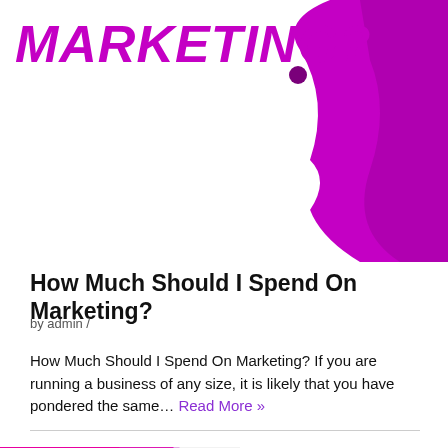[Figure (illustration): Purple/magenta marketing banner graphic with bold italic purple text 'MARKETING?' at top and decorative purple blob shape on the right side with a small purple circle]
How Much Should I Spend On Marketing?
by admin /
How Much Should I Spend On Marketing? If you are running a business of any size, it is likely that you have pondered the same… Read More »
[Figure (illustration): Second blog post banner with purple/magenta decorative shapes on left and bottom right, purple square with up arrow icon, and bold purple italic text 'HOW TO FIND OUT WHAT PEOPLE']